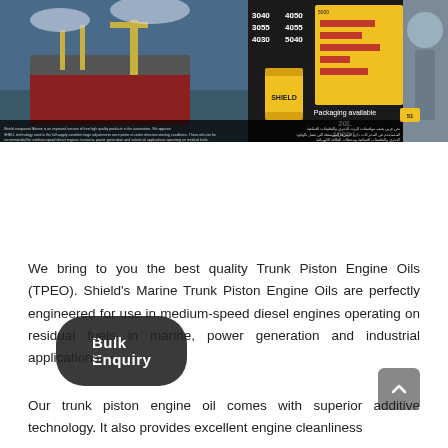[Figure (photo): Banner image composite: ship at port on the left, yellow barrel and product info chart in the center, industrial equipment on the right. Text includes numbers 3040, 3055, 4030, 4050, 4055, 5040, packaging information 20L and 1000L, and small descriptive text in English and Arabic.]
Bulk Enquiry
We bring to you the best quality Trunk Piston Engine Oils (TPEO). Shield's Marine Trunk Piston Engine Oils are perfectly engineered for use in medium-speed diesel engines operating on residual fuels in marine, power generation and industrial applications.
Our trunk piston engine oil comes with superior additive technology. It also provides excellent engine cleanliness